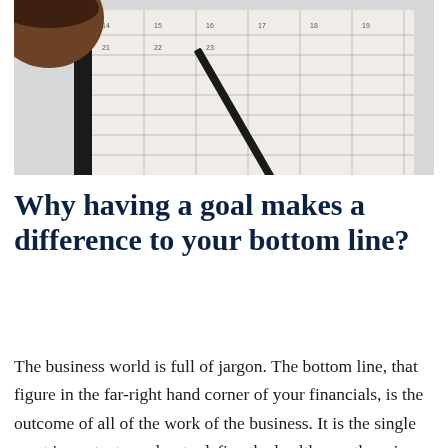[Figure (photo): Top-down photo of a coffee cup and a calendar/planner with a grid of dates, shot on a white surface. The planner has a black binding and ruled date cells.]
Why having a goal makes a difference to your bottom line?
The business world is full of jargon. The bottom line, that figure in the far-right hand corner of your financials, is the outcome of all of the work of the business. It is the single most important number to define the health, or otherwise, of the company. As an overall indicator of your performance, it shows that your products and services are valued by your customers, you are